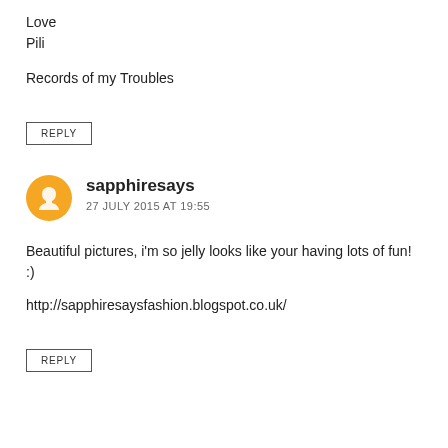Love
Pili
Records of my Troubles
REPLY
sapphiresays
27 JULY 2015 AT 19:55
Beautiful pictures, i'm so jelly looks like your having lots of fun! :)
http://sapphiresaysfashion.blogspot.co.uk/
REPLY